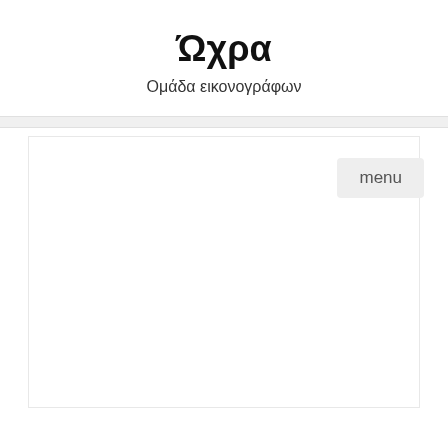Ώχρα
Ομάδα εικονογράφων
menu
[Figure (other): Large white blank content area with light border, below a navigation bar]